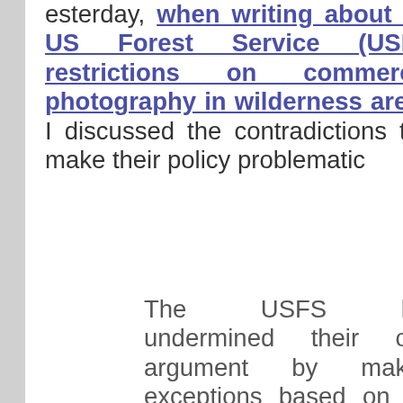Yesterday, when writing about the US Forest Service (USFS) restrictions on commercial photography in wilderness areas, I discussed the contradictions that make their policy problematic
The USFS has undermined their own argument by making exceptions based on the purpose of the filming